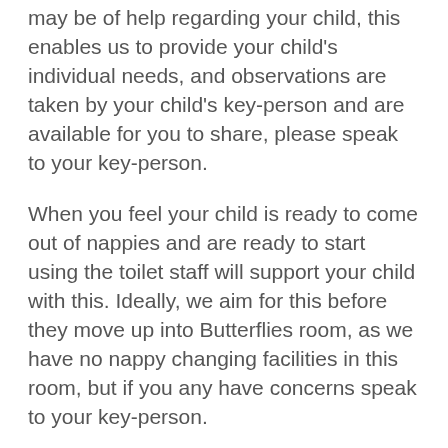may be of help regarding your child, this enables us to provide your child's individual needs, and observations are taken by your child's key-person and are available for you to share, please speak to your key-person.
When you feel your child is ready to come out of nappies and are ready to start using the toilet staff will support your child with this. Ideally, we aim for this before they move up into Butterflies room, as we have no nappy changing facilities in this room, but if you any have concerns speak to your key-person.
Children move up to Butterflies room generally when they are around three, usually about a month prior to moving up they will be taken for visits so they can settle into their new environment more